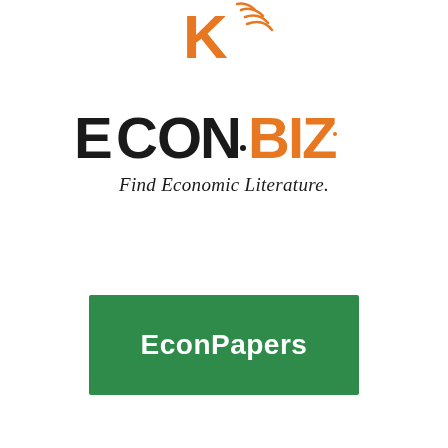[Figure (logo): Partial K logo with orange arc/lines at top of page]
[Figure (logo): EconBiz logo — ECON in black, BIZ in orange, with tagline 'Find Economic Literature.' in italic serif below]
[Figure (logo): EconPapers logo — white text on green rectangle background]